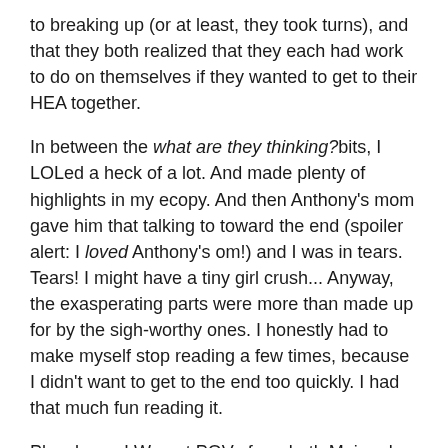to breaking up (or at least, they took turns), and that they both realized that they each had work to do on themselves if they wanted to get to their HEA together.
In between the what are they thinking? bits, I LOLed a heck of a lot. And made plenty of highlights in my ecopy. And then Anthony's mom gave him that talking to toward the end (spoiler alert: I loved Anthony's om!) and I was in tears. Tears! I might have a tiny girl crush... Anyway, the exasperating parts were more than made up for by the sigh-worthy ones. I honestly had to make myself stop reading a few times, because I didn't want to get to the end too quickly. I had that much fun reading it.
Plus–bonus! We get POVs from both Mai and Anthony this time! Woot!
If Ms Dominy wants to give any of the rest of Garrett